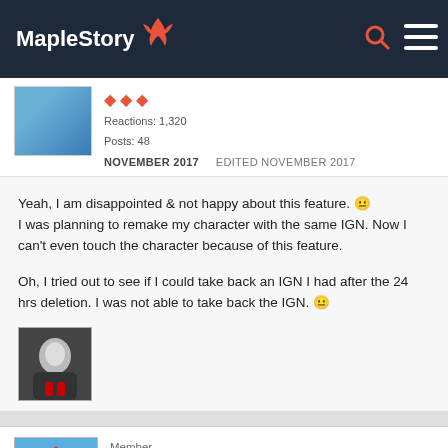MapleStory
Reactions: 1,320
Posts: 48
NOVEMBER 2017   EDITED NOVEMBER 2017
Yeah, I am disappointed & not happy about this feature. 😐 I was planning to remake my character with the same IGN. Now I can't even touch the character because of this feature.

Oh, I tried out to see if I could take back an IGN I had after the 24 hrs deletion. I was not able to take back the IGN. 😐
[Figure (photo): Dark-themed avatar/character profile picture]
Member
Argent